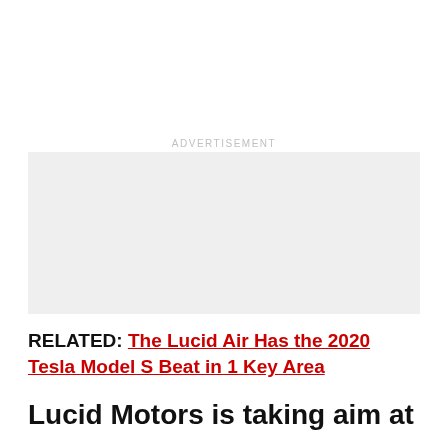[Figure (other): Advertisement placeholder box (light gray rectangle)]
RELATED: The Lucid Air Has the 2020 Tesla Model S Beat in 1 Key Area
Lucid Motors is taking aim at